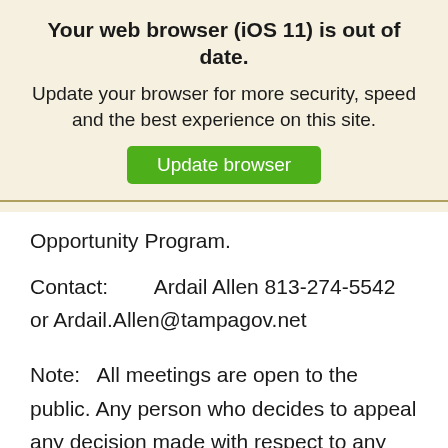Your web browser (iOS 11) is out of date.
Update your browser for more security, speed and the best experience on this site.
Update browser
Opportunity Program.
Contact:   Ardail Allen 813-274-5542 or Ardail.Allen@tampagov.net
Note:   All meetings are open to the public. Any person who decides to appeal any decision made with respect to any matter considered at this public hearing or meeting are advised, in accordance with Section 286.0105, Florida Statutes, that they will need a record of the